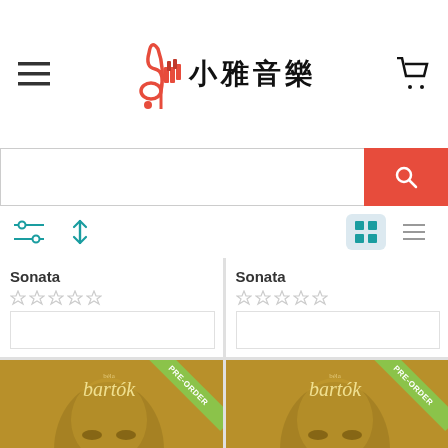小雅音樂
[Figure (screenshot): Search bar with red search button icon]
[Figure (screenshot): Filter/sort toolbar with grid and list view toggle buttons]
Sonata
Sonata
[Figure (screenshot): Béla Bartók Piano Concerto No. 3 album cover with PRE-ORDER banner]
[Figure (screenshot): Béla Bartók Seven Pieces from Mikrokosmos album cover with PRE-ORDER banner]